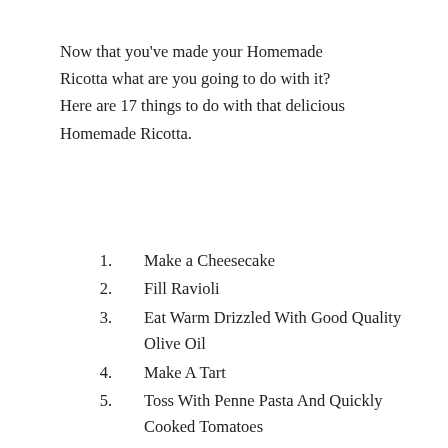Now that you've made your Homemade Ricotta what are you going to do with it?  Here are 17 things to do with that delicious Homemade Ricotta.
1. Make a Cheesecake
2. Fill Ravioli
3. Eat Warm Drizzled With Good Quality Olive Oil
4. Make A Tart
5. Toss With Penne Pasta And Quickly Cooked Tomatoes
6. Savory Bruschetta – Toast Or Grill Slices Of Italian